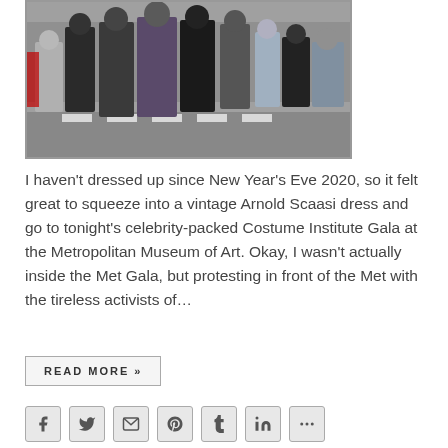[Figure (photo): A crowd of people on a street crosswalk, photographed from a low angle. People are dressed in various outfits, some in dark clothing. A zebra crossing is visible on the ground.]
I haven't dressed up since New Year's Eve 2020, so it felt great to squeeze into a vintage Arnold Scaasi dress and go to tonight's celebrity-packed Costume Institute Gala at the Metropolitan Museum of Art. Okay, I wasn't actually inside the Met Gala, but protesting in front of the Met with the tireless activists of…
READ MORE »
[Figure (other): Social media sharing icons: Facebook, Twitter, Email, Pinterest, Tumblr, LinkedIn, and More options]